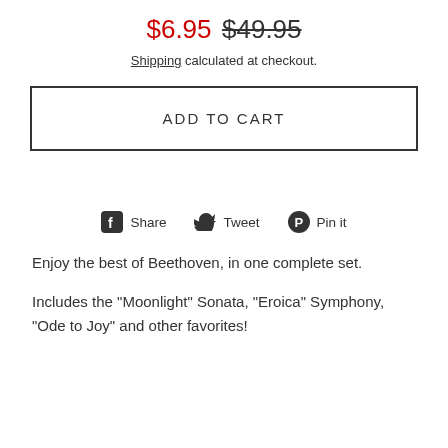$6.95  $49.95
Shipping calculated at checkout.
ADD TO CART
[Figure (infographic): Social share buttons: Facebook Share, Twitter Tweet, Pinterest Pin it]
Enjoy the best of Beethoven, in one complete set.
Includes the "Moonlight" Sonata, "Eroica" Symphony, "Ode to Joy" and other favorites!